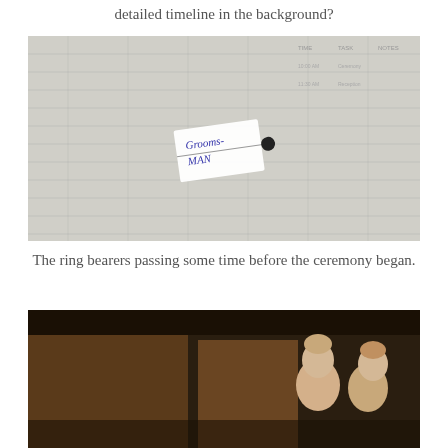detailed timeline in the background?
[Figure (photo): Close-up photo of a name tag reading 'GROOMSMAN' pinned with a black pin onto a paper with a detailed timeline grid in the background.]
The ring bearers passing some time before the ceremony began.
[Figure (photo): Photo of two young children (ring bearers) sitting together before the ceremony, with wooden furniture visible in the background.]